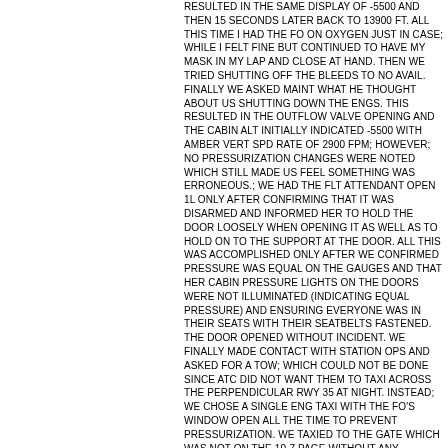RESULTED IN THE SAME DISPLAY OF -5500 AND THEN 15 SECONDS LATER BACK TO 13900 FT. ALL THIS TIME I HAD THE FO ON OXYGEN JUST IN CASE; WHILE I FELT FINE BUT CONTINUED TO HAVE MY MASK IN MY LAP AND CLOSE AT HAND. THEN WE TRIED SHUTTING OFF THE BLEEDS TO NO AVAIL. FINALLY WE ASKED MAINT WHAT HE THOUGHT ABOUT US SHUTTING DOWN THE ENGS. THIS RESULTED IN THE OUTFLOW VALVE OPENING AND THE CABIN ALT INITIALLY INDICATED -5500 WITH AMBER VERT SPD RATE OF 2900 FPM; HOWEVER; NO PRESSURIZATION CHANGES WERE NOTED WHICH STILL MADE US FEEL SOMETHING WAS ERRONEOUS.; WE HAD THE FLT ATTENDANT OPEN 1L ONLY AFTER CONFIRMING THAT IT WAS DISARMED AND INFORMED HER TO HOLD THE DOOR LOOSELY WHEN OPENING IT AS WELL AS TO HOLD ON TO THE SUPPORT AT THE DOOR. ALL THIS WAS ACCOMPLISHED ONLY AFTER WE CONFIRMED PRESSURE WAS EQUAL ON THE GAUGES AND THAT HER CABIN PRESSURE LIGHTS ON THE DOORS WERE NOT ILLUMINATED (INDICATING EQUAL PRESSURE) AND ENSURING EVERYONE WAS IN THEIR SEATS WITH THEIR SEATBELTS FASTENED. THE DOOR OPENED WITHOUT INCIDENT. WE FINALLY MADE CONTACT WITH STATION OPS AND ASKED FOR A TOW; WHICH COULD NOT BE DONE SINCE ATC DID NOT WANT THEM TO TAXI ACROSS THE PERPENDICULAR RWY 35 AT NIGHT. INSTEAD; WE CHOSE A SINGLE ENG TAXI WITH THE FO'S WINDOW OPEN ALL THE TIME TO PREVENT PRESSURIZATION. WE TAXIED TO THE GATE WHICH WAS NOT ON THE 10-7 PAGE WITHOUT ANY FURTHER INCIDENTS.
Data retrieved from NASA's ASRS site as of January 2009 and automatically converted to unabbreviated mixed upper/lowercase text. This report is for informational purposes with no guarantee of accuracy. See NASA's ASRS site for official report.